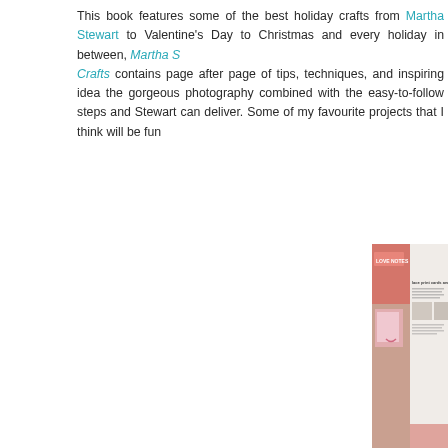This book features some of the best holiday crafts from Martha Stewart to Valentine's Day to Christmas and every holiday in between, Martha Stewart Crafts contains page after page of tips, techniques, and inspiring ideas the gorgeous photography combined with the easy-to-follow steps and Stewart can deliver. Some of my favourite projects that I think will be fun
[Figure (photo): An open book showing a 'Love Notes' section with pink Valentine's Day stationery and a hand holding the page open. The right page shows 'lace print cards and tags' with text and photographs of stationery items.]
Lace stencils on tags to create the most gorgeous station
[Figure (photo): Partial view of another open book page, showing what appears to be craft projects with colorful elements.]